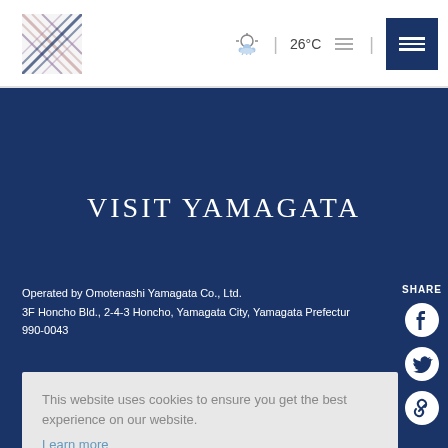[Figure (logo): Yamagata crosshatch plaid logo square]
26°C
VISIT YAMAGATA
Operated by Omotenashi Yamagata Co., Ltd.
3F Honcho Bld., 2-4-3 Honcho, Yamagata City, Yamagata Prefecture 990-0043
SHARE
This website uses cookies to ensure you get the best experience on our website.
Learn more
Decline
Allow cookies